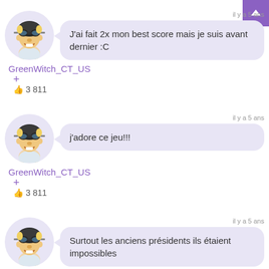[Figure (illustration): Purple button with white upward arrow in top-right corner]
[Figure (illustration): Avatar of cartoon character with pilot helmet and goggles in circular frame]
il y a 5 ans
J'ai fait 2x mon best score mais je suis avant dernier :C
GreenWitch_CT_US
+
3 811
[Figure (illustration): Avatar of cartoon character with pilot helmet and goggles in circular frame]
il y a 5 ans
j'adore ce jeu!!!
GreenWitch_CT_US
+
3 811
[Figure (illustration): Avatar of cartoon character with pilot helmet and goggles in circular frame]
il y a 5 ans
Surtout les anciens présidents ils étaient impossibles